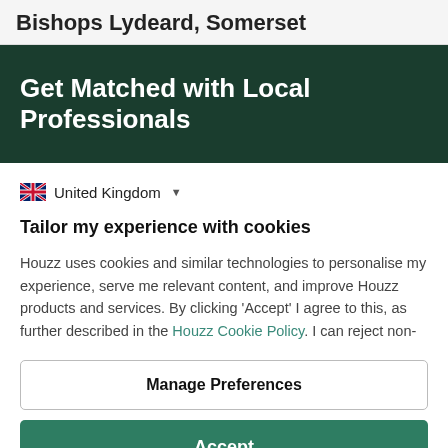Bishops Lydeard, Somerset
Get Matched with Local Professionals
United Kingdom
Tailor my experience with cookies
Houzz uses cookies and similar technologies to personalise my experience, serve me relevant content, and improve Houzz products and services. By clicking 'Accept' I agree to this, as further described in the Houzz Cookie Policy. I can reject non-
Manage Preferences
Accept